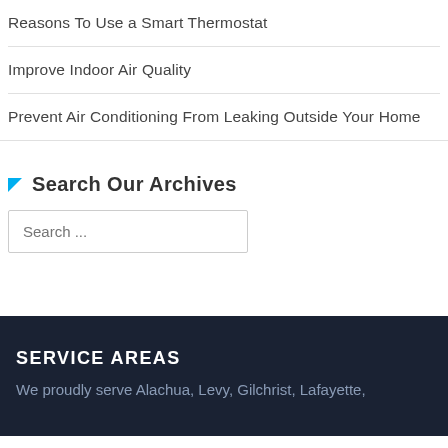Reasons To Use a Smart Thermostat
Improve Indoor Air Quality
Prevent Air Conditioning From Leaking Outside Your Home
Search Our Archives
Search ...
SERVICE AREAS
We proudly serve Alachua, Levy, Gilchrist, Lafayette,